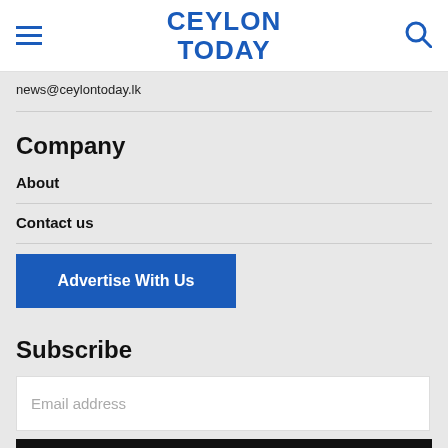CEYLON TODAY
news@ceylontoday.lk
Company
About
Contact us
Advertise With Us
Subscribe
Email address
I WANT IN →